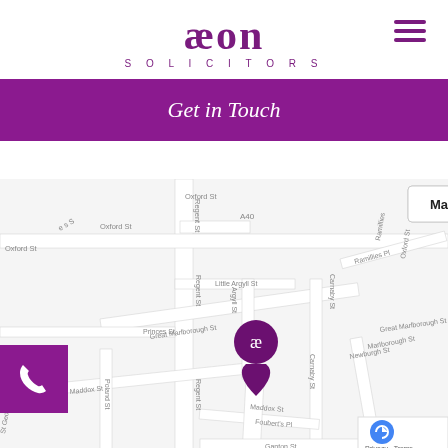[Figure (logo): Aeon Solicitors logo — stylized 'æon' in purple with 'SOLICITORS' below in spaced capitals]
Get in Touch
[Figure (map): Google Maps view centered on Aeon Solicitors location near Regent Street / Great Marlborough Street, London W1. Streets visible include Oxford St, A40, Regent St, Little Argyll St, Great Marlborough St, Maddox St, Carnaby St, Foubert's Pl, Ramillies Pl, Hanover Square. Map/Satellite toggle buttons visible at top. Purple location pin with æ logo. Phone button bottom-left. reCAPTCHA badge and Privacy · Terms bottom-right.]